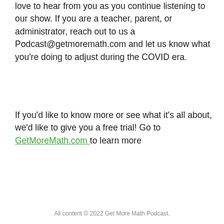love to hear from you as you continue listening to our show. If you are a teacher, parent, or administrator, reach out to us a Podcast@getmoremath.com and let us know what you're doing to adjust during the COVID era.
If you'd like to know more or see what it's all about, we'd like to give you a free trial! Go to GetMoreMath.com to learn more
All content © 2022 Get More Math Podcast.